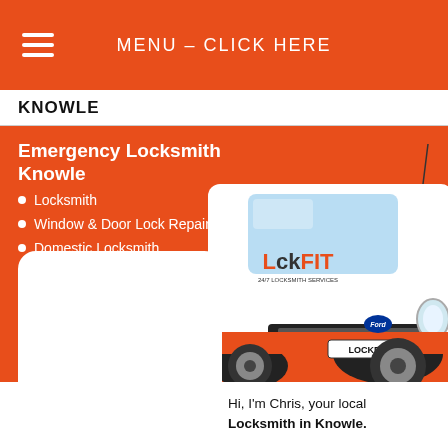MENU – CLICK HERE
KNOWLE
Emergency Locksmith Knowle
Locksmith
Window & Door Lock Repairs
Domestic Locksmith
Commercial Locksmith
24/7 Service
Locked Out
[Figure (photo): LockFit branded white and orange Ford Transit van with LOCKFIT license plate]
Hi, I'm Chris, your local Locksmith in Knowle.